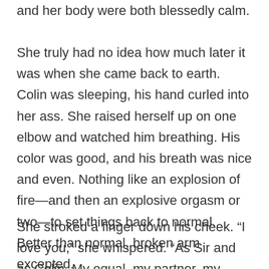and her body were both blessedly calm.
She truly had no idea how much later it was when she came back to earth. Colin was sleeping, his hand curled into her ass. She raised herself up on one elbow and watched him breathing. His color was good, and his breath was nice and even. Nothing like an explosion of fire—and then an explosive orgasm or two—to set things back to normal. Better than normal, broken arm excepted.
She stroked a finger down his cheek. “I love you,” she whispered. “As Sir and as Colin. My equal, my partner, my lover, my Master.”